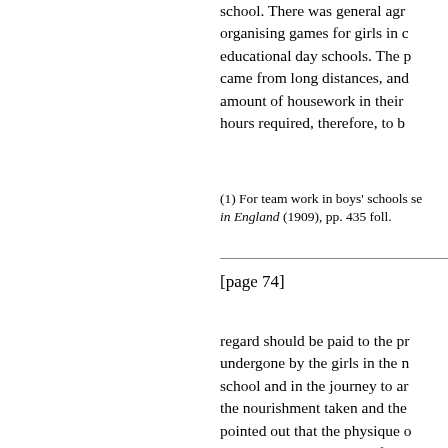school. There was general agr organising games for girls in c educational day schools. The p came from long distances, and amount of housework in their hours required, therefore, to b
(1) For team work in boys' schools se in England (1909), pp. 435 foll.
[page 74]
regard should be paid to the pr undergone by the girls in the n school and in the journey to ar the nourishment taken and the pointed out that the physique o Secondary Schools was often schools. (1) Such girls were m necessarily of the same type, n stronger girls. In the light of o whole question of games in da day schools requires further in suitable games should form pa we are not convinced that they